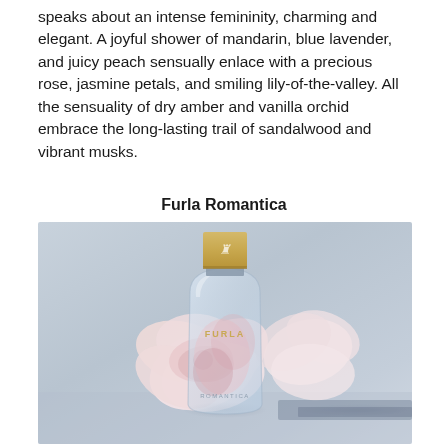speaks about an intense femininity, charming and elegant. A joyful shower of mandarin, blue lavender, and juicy peach sensually enlace with a precious rose, jasmine petals, and smiling lily-of-the-valley. All the sensuality of dry amber and vanilla orchid embrace the long-lasting trail of sandalwood and vibrant musks.
Furla Romantica
[Figure (photo): A Furla Romantica perfume bottle with a gold cap featuring a logo, a light blue collar, and a clear glass arch-shaped body with floral design inside. The bottle is labeled FURLA and ROMANTICA, surrounded by large fluffy pink/white flowers, set against a light grey gradient background.]